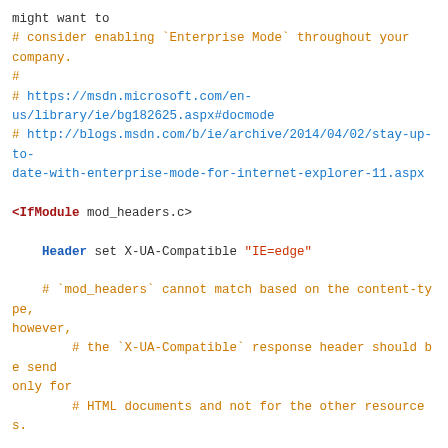might want to
# consider enabling `Enterprise Mode` throughout your company.
#
# https://msdn.microsoft.com/en-us/library/ie/bg182625.aspx#docmode
# http://blogs.msdn.com/b/ie/archive/2014/04/02/stay-up-to-date-with-enterprise-mode-for-internet-explorer-11.aspx

<IfModule mod_headers.c>

    Header set X-UA-Compatible "IE=edge"

    # `mod_headers` cannot match based on the content-type, however,
        # the `X-UA-Compatible` response header should be send only for
        # HTML documents and not for the other resources.

    <FilesMatch ".(appcache|atom|bbaw|bmp|crx|css|cur|eot|f4[abpv]|flv|geojson|gif|htc|ico|jpe?g|js|json(ld)?|m4[av]|manifest|map|mp4|oex|og[agv]|opus|otf|pdf|png|rdf|rss|safariextz|svgz?|swf|topojson|tt[cf]|txt|vcard|vcf|vtt|webapp|web[mp]|webmanifest|woff2?|xloc|xml|xpi)$">